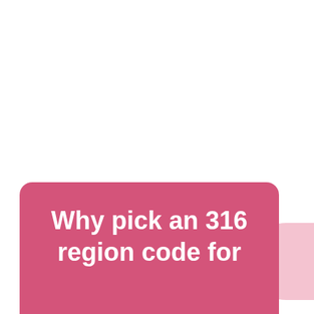Why pick an 316 region code for